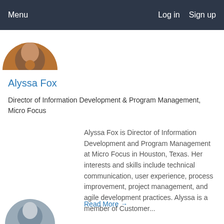Menu   Log in   Sign up
[Figure (photo): Circular profile photo of Alyssa Fox, partially visible at top]
Alyssa Fox
Director of Information Development & Program Management, Micro Focus
Alyssa Fox is Director of Information Development and Program Management at Micro Focus in Houston, Texas. Her interests and skills include technical communication, user experience, process improvement, project management, and agile development practices. Alyssa is a member of Customer...
Read More →
[Figure (photo): Circular profile photo of another person, partially visible at bottom]